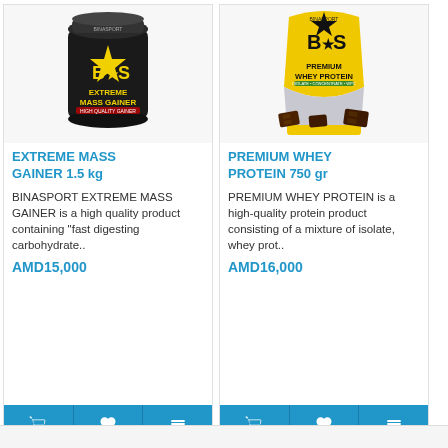[Figure (photo): Black container of BINASPORT EXTREME MASS GAINER supplement with yellow star logo]
EXTREME MASS GAINER 1.5 kg
BINASPORT EXTREME MASS GAINER is a high quality product containing "fast digesting carbohydrate..
AMD15,000
[Figure (photo): Yellow bag of BINASPORT PREMIUM WHEY PROTEIN with chocolate pieces in front]
PREMIUM WHEY PROTEIN 750 gr
PREMIUM WHEY PROTEIN is a high-quality protein product consisting of a mixture of isolate, whey prot..
AMD16,000